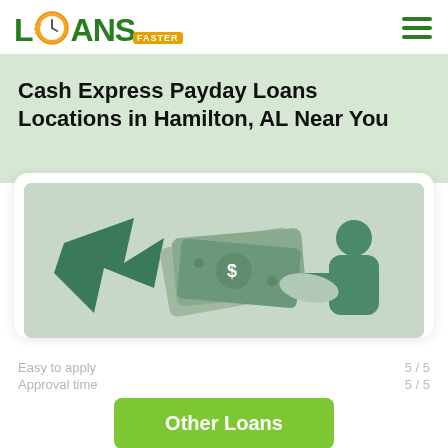[Figure (logo): Loans Faster logo with clock icon in green and orange, hamburger menu icon on right]
Cash Express Payday Loans Locations in Hamilton, AL Near You
[Figure (illustration): Illustration of a hand passing money/cash bills to a person, teal/green color scheme]
[Figure (infographic): Other Loans green button overlay with partially visible rating rows (Easy to apply 5/5, Approval time 5/5, No hidden condition 4/5)]
Applying does NOT affect your credit score! No credit check to apply.